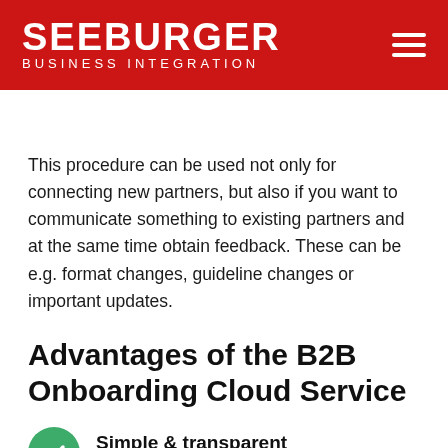SEEBURGER Business Integration
This procedure can be used not only for connecting new partners, but also if you want to communicate something to existing partners and at the same time obtain feedback. These can be e.g. format changes, guideline changes or important updates.
Advantages of the B2B Onboarding Cloud Service
Simple & transparent — Benefit from self-service – you and your